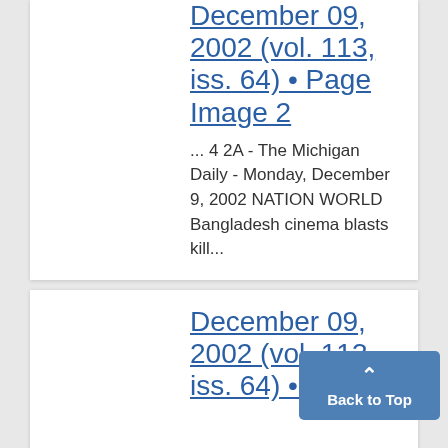December 09, 2002 (vol. 113, iss. 64) • Page Image 2
... 4 2A - The Michigan Daily - Monday, December 9, 2002 NATION WORLD Bangladesh cinema blasts kill...
December 09, 2002 (vol. 113, iss. 64) • Pa...